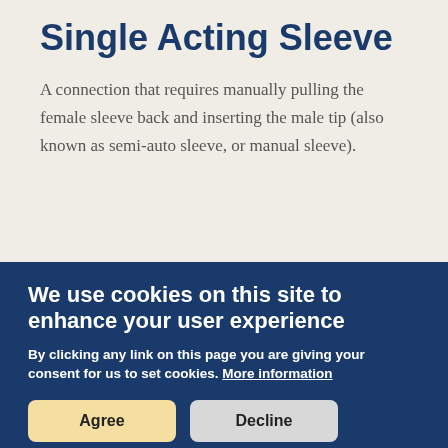Single Acting Sleeve
A connection that requires manually pulling the female sleeve back and inserting the male tip (also known as semi-auto sleeve, or manual sleeve).
We use cookies on this site to enhance your user experience
By clicking any link on this page you are giving your consent for us to set cookies. More information
Agree
Decline